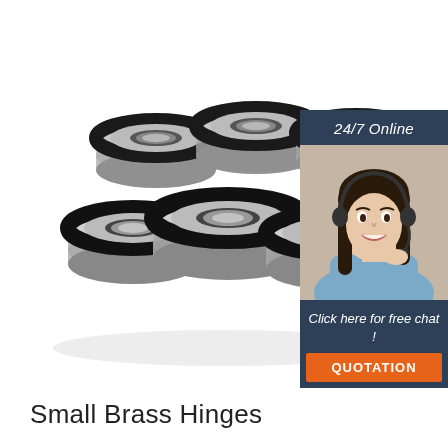[Figure (photo): Multiple black and silver ball bearings arranged in a cluster on a white background]
[Figure (infographic): Customer service sidebar showing '24/7 Online' header, photo of a smiling woman with headset, text 'Click here for free chat!', and orange QUOTATION button]
Small Brass Hinges